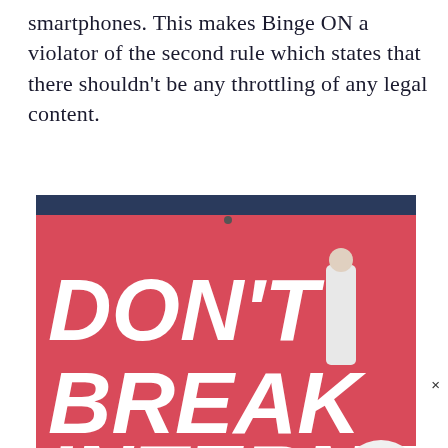smartphones. This makes Binge ON a violator of the second rule which states that there shouldn't be any throttling of any legal content.
[Figure (photo): Photo of a red protest sign reading 'DON'T BREAK THE INTERNET' with white bold text, photographed at an angle outdoors. A person is visible in the background on the right, and a white spherical object is in the foreground right. A dark banner at the bottom reads 'THE FUTURE O'. A small × close button appears at the far right.]